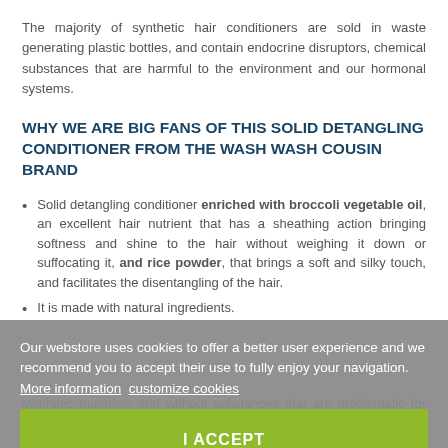The majority of synthetic hair conditioners are sold in waste generating plastic bottles, and contain endocrine disruptors, chemical substances that are harmful to the environment and our hormonal systems.
WHY WE ARE BIG FANS OF THIS SOLID DETANGLING CONDITIONER FROM THE WASH WASH COUSIN BRAND
Solid detangling conditioner enriched with broccoli vegetable oil, an excellent hair nutrient that has a sheathing action bringing softness and shine to the hair without weighing it down or suffocating it, and rice powder, that brings a soft and silky touch, and facilitates the disentangling of the hair.
It is made with natural ingredients.
Our webstore uses cookies to offer a better user experience and we recommend you to accept their use to fully enjoy your navigation. More information customize cookies
I ACCEPT
synthetic materials and without substances that are problematic for health and the environment.